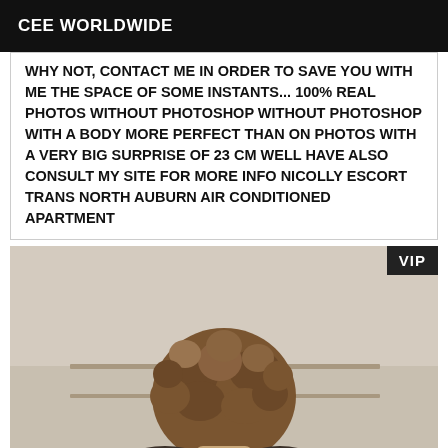CEE WORLDWIDE
WHY NOT, CONTACT ME IN ORDER TO SAVE YOU WITH ME THE SPACE OF SOME INSTANTS... 100% REAL PHOTOS WITHOUT PHOTOSHOP WITHOUT PHOTOSHOP WITH A BODY MORE PERFECT THAN ON PHOTOS WITH A VERY BIG SURPRISE OF 23 CM WELL HAVE ALSO CONSULT MY SITE FOR MORE INFO NICOLLY ESCORT TRANS NORTH AUBURN AIR CONDITIONED APARTMENT
[Figure (photo): Person with curly brown hair photographed from behind/side, indoors near a window or wall. A VIP badge appears in the top-right corner of the photo.]